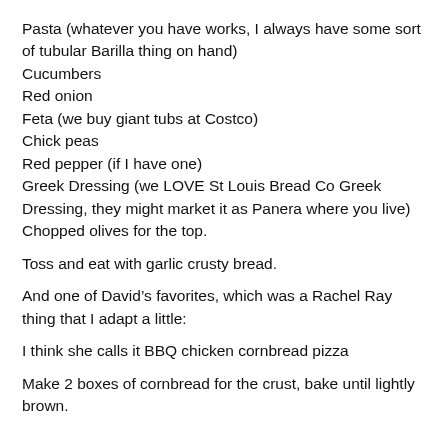Pasta (whatever you have works, I always have some sort of tubular Barilla thing on hand)
Cucumbers
Red onion
Feta (we buy giant tubs at Costco)
Chick peas
Red pepper (if I have one)
Greek Dressing (we LOVE St Louis Bread Co Greek Dressing, they might market it as Panera where you live)
Chopped olives for the top.
Toss and eat with garlic crusty bread.
And one of David’s favorites, which was a Rachel Ray thing that I adapt a little:
I think she calls it BBQ chicken cornbread pizza
Make 2 boxes of cornbread for the crust, bake until lightly brown.